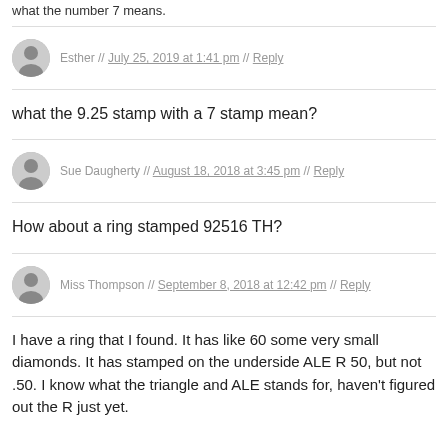what the number 7 means.
Esther // July 25, 2019 at 1:41 pm // Reply
what the 9.25 stamp with a 7 stamp mean?
Sue Daugherty // August 18, 2018 at 3:45 pm // Reply
How about a ring stamped 92516 TH?
Miss Thompson // September 8, 2018 at 12:42 pm // Reply
I have a ring that I found. It has like 60 some very small diamonds. It has stamped on the underside ALE R 50, but not .50. I know what the triangle and ALE stands for, haven't figured out the R just yet.